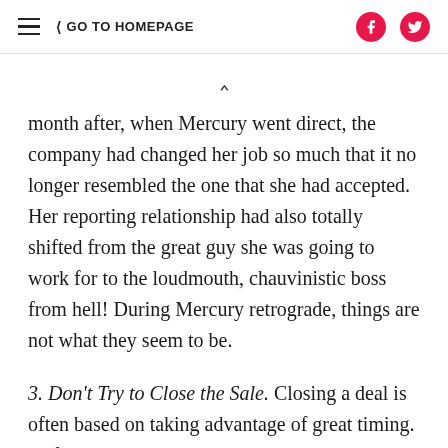GO TO HOMEPAGE
month after, when Mercury went direct, the company had changed her job so much that it no longer resembled the one that she had accepted. Her reporting relationship had also totally shifted from the great guy she was going to work for to the loudmouth, chauvinistic boss from hell! During Mercury retrograde, things are not what they seem to be.
3. Don't Try to Close the Sale. Closing a deal is often based on taking advantage of great timing. Unfortunately, you're timing couldn't be worse when Mercury is retrograde. If you do, all likelihood you'll be